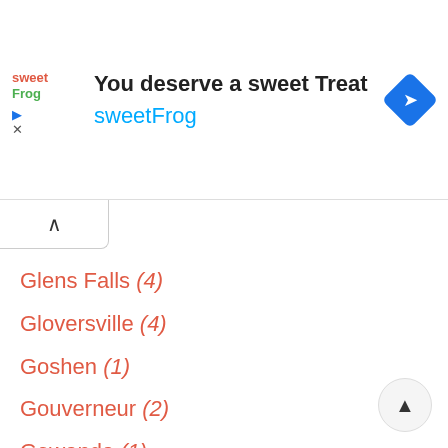[Figure (infographic): sweetFrog advertisement banner with logo, headline 'You deserve a sweet Treat', brand name 'sweetFrog', navigation icon (blue diamond with arrow), play and close icons]
mont (1)
Glens Falls (4)
Gloversville (4)
Goshen (1)
Gouverneur (2)
Gowanda (1)
Granville (1)
Great Neck (1)
Great Valley (1)